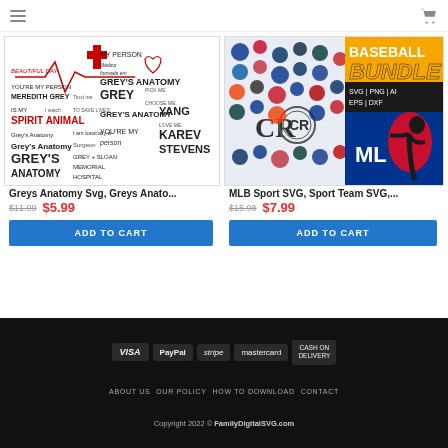Navigation menu and cart
[Figure (illustration): Greys Anatomy SVG product image with typography collage]
Greys Anatomy Svg, Greys Anato...
$11.99  $5.99
ADD TO CART
[Figure (illustration): MLB Sport SVG Bundle product image with team logos]
MLB Sport SVG, Sport Team SVG,...
$15.98  $7.99
ADD TO CART
VISA  PayPal  stripe  MasterCard  CASH ON DELIVERY  ABOUT US  OUR POLICY  HOW TO DOWNLOAD  CONTACT  Copyright 2022 © FamilyDigitalSVG.com